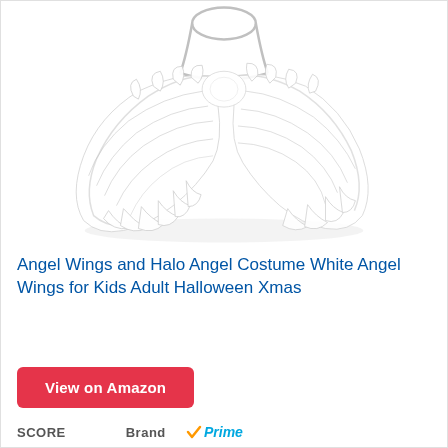[Figure (photo): White feathered angel wings with silver halo headband costume accessory set on white background]
Angel Wings and Halo Angel Costume White Angel Wings for Kids Adult Halloween Xmas
View on Amazon
SCORE    Brand    Prime